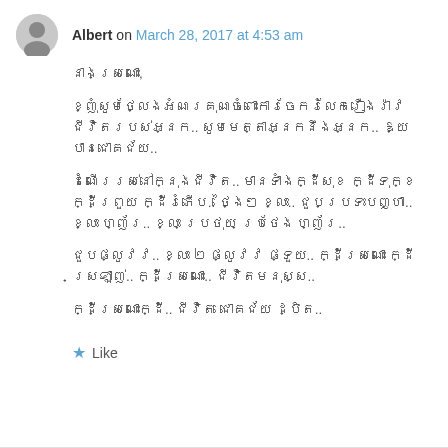Albert on March 28, 2017 at 4:53 am
នាងស្រណោះ,
ខ្ញុំសូមថ្លែងអំណរគុណចំពោះការចែករំលែករឿងរ៉ាវជីវិតរបស់អ្នក.. សូមមេត្តាអ្នកនឹងអ្នក.. ឱ្យបានជោគជ័យ..
ដំណើររស់នៅក្នុងជីវិត.. មានទាំងក្ដីសុខ ក្ដីទុក្ខ ក្ដីព្រួយ ក្ដីរំភើប.. ថ្ងៃៗ ខ្លះ.. ជួបប្រទះបញ្ហា.. ខ្លះ ហ្ញ័រ.. ខ្លះ ប្រថុយ ប្រថែង ហ្ញ័រ..
ជួបផ្លូវវ.. ខ្លះ ២ ផ្លូវវ ផ្ទួយ.. ក្ដីស្រណោះ ក្ដីស្រឡាញ់.. ក្ដីស្រណោះ.. ជីវិតមនុស្ស..
ក្ដីស្រណោះក្ដី.. ជីវិត ជោគជ័យ ដ្បិត..